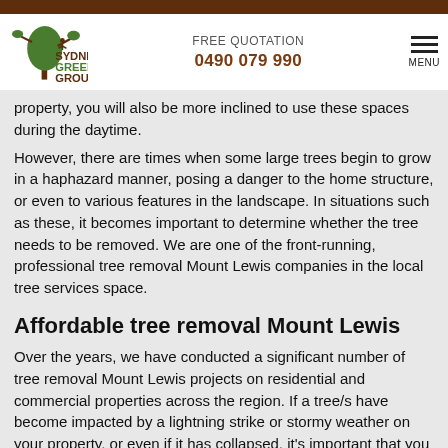Sydney Green Group — FREE QUOTATION 0490 079 990 MENU
property, you will also be more inclined to use these spaces during the daytime.
However, there are times when some large trees begin to grow in a haphazard manner, posing a danger to the home structure, or even to various features in the landscape. In situations such as these, it becomes important to determine whether the tree needs to be removed. We are one of the front-running, professional tree removal Mount Lewis companies in the local tree services space.
Affordable tree removal Mount Lewis
Over the years, we have conducted a significant number of tree removal Mount Lewis projects on residential and commercial properties across the region. If a tree/s have become impacted by a lightning strike or stormy weather on your property, or even if it has collapsed, it's important that you get it removed without delay. While there are a large